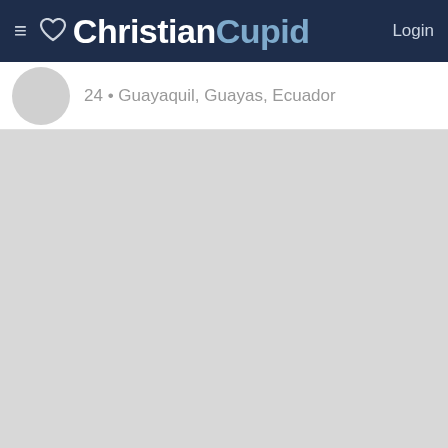ChristianCupid — Login
24 • Guayaquil, Guayas, Ecuador